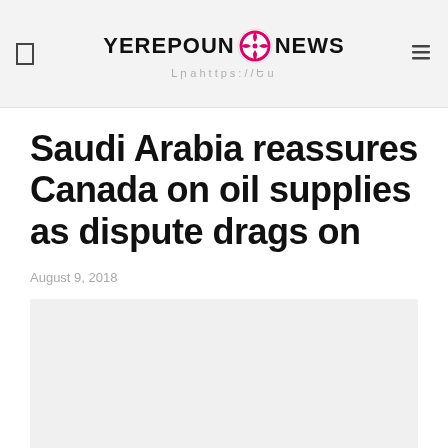YEREPOUNIНEWS — Լրաhttps://yerepouninews.com
Saudi Arabia reassures Canada on oil supplies as dispute drags on
August 9, 2018
[Figure (photo): Light gray placeholder image rectangle below the article date]